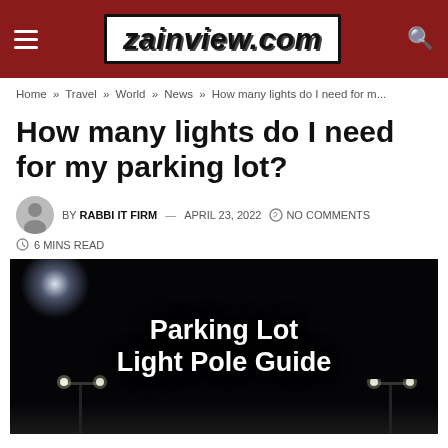zainview.com
Home » Travel » World » News » How many lights do I need for m...
How many lights do I need for my parking lot?
BY RABBI IT FIRM — APRIL 23, 2022  NO COMMENTS
6 MINS READ
[Figure (photo): Dark night photo with bright text overlay reading 'Parking Lot Light Pole Guide', with light poles visible at the bottom and a bright light flare at upper left.]